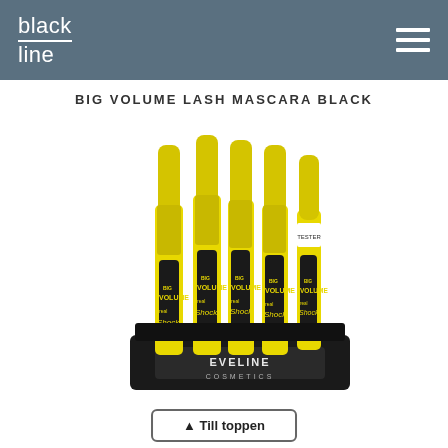black line
BIG VOLUME LASH MASCARA BLACK
[Figure (photo): Display stand holding multiple yellow Eveline Cosmetics Big Volume Real Shock mascara tubes, with a 'TESTER' label visible on one, and 'EVELINE COSMETICS' branding on the black display base.]
▲ Till toppen